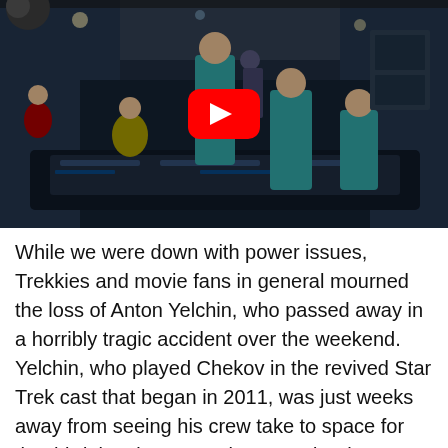[Figure (screenshot): YouTube video thumbnail showing Star Trek movie scene with characters in teal Starfleet uniforms on a spaceship bridge, with a red YouTube play button overlay in the center.]
While we were down with power issues, Trekkies and movie fans in general mourned the loss of Anton Yelchin, who passed away in a horribly tragic accident over the weekend. Yelchin, who played Chekov in the revived Star Trek cast that began in 2011, was just weeks away from seeing his crew take to space for the third time in Star Trek: Beyond. What happened to him is so senseless, but I think we all have had people in our lives disappear because of random